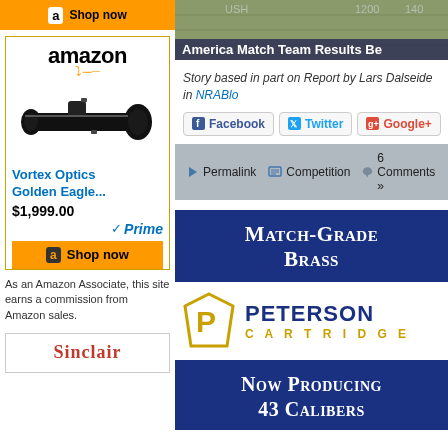[Figure (screenshot): Amazon top shop now banner (orange)]
[Figure (screenshot): Amazon ad for Vortex Optics Golden Eagle scope, $1,999.00, Prime, Shop now button]
As an Amazon Associate, this site earns a commission from Amazon sales.
[Figure (logo): Sinclair logo (partial, red text)]
[Figure (photo): Photo strip showing scoreboard with text overlay: America Match Team Results Be...]
Story based in part on Report by Lars Dalseide in NRABlo...
[Figure (screenshot): Social share buttons: Facebook, Twitter, Google+]
[Figure (screenshot): Meta bar with Permalink, Competition, 6 Comments icons]
[Figure (infographic): Peterson Cartridge ad: Match-Grade Brass, Now Producing 43 Calibers]